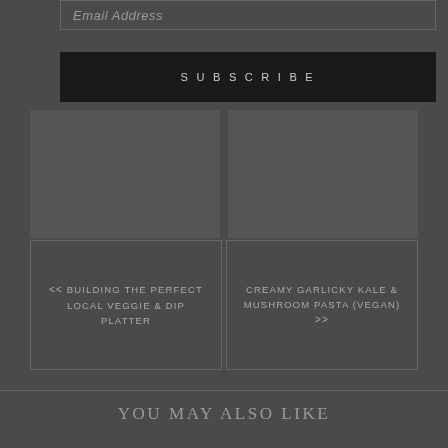Email Address
SUBSCRIBE
<< BUILDING THE PERFECT LOCAL VEGGIE & DIP PLATTER
CREAMY GARLICKY KALE & MUSHROOM PASTA (VEGAN) >>
YOU MAY ALSO LIKE